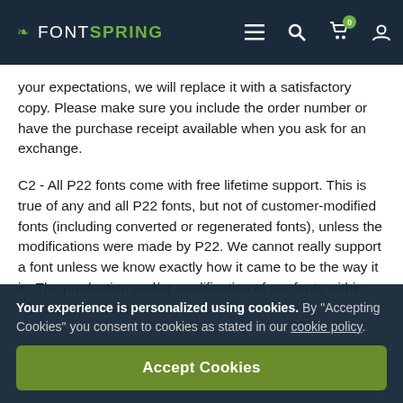FONTSPRING [nav icons: menu, search, cart (0), user]
your expectations, we will replace it with a satisfactory copy. Please make sure you include the order number or have the purchase receipt available when you ask for an exchange.
C2 - All P22 fonts come with free lifetime support. This is true of any and all P22 fonts, but not of customer-modified fonts (including converted or regenerated fonts), unless the modifications were made by P22. We cannot really support a font unless we know exactly how it came to be the way it is. The production and/or modification of our fonts within P22's own software and
Your experience is personalized using cookies. By "Accepting Cookies" you consent to cookies as stated in our cookie policy.
Accept Cookies